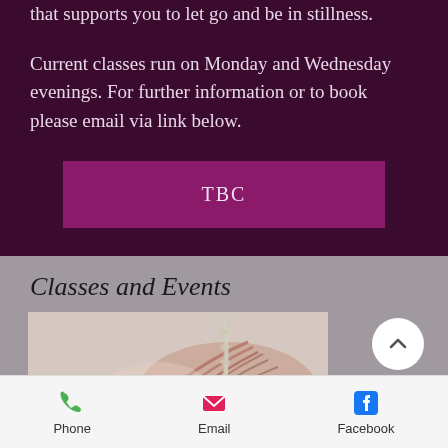that supports you to let go and be in stillness.
Current classes run on Monday and Wednesday evenings. For further information or to book please email via link below.
TBC
Classes and Events
[Figure (illustration): Partial anatomical illustration showing muscles of the neck/shoulder region]
Phone   Email   Facebook